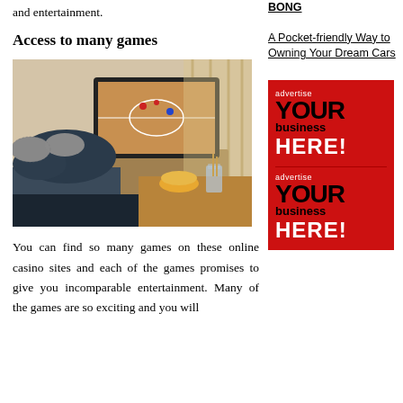and entertainment.
Access to many games
[Figure (photo): Person relaxing on couch with feet up watching basketball on TV, with snacks on table]
You can find so many games on these online casino sites and each of the games promises to give you incomparable entertainment. Many of the games are so exciting and you will
BONG
A Pocket-friendly Way to Owning Your Dream Cars
[Figure (infographic): Red advertisement block saying 'advertise YOUR BUSINESS HERE!' repeated twice]